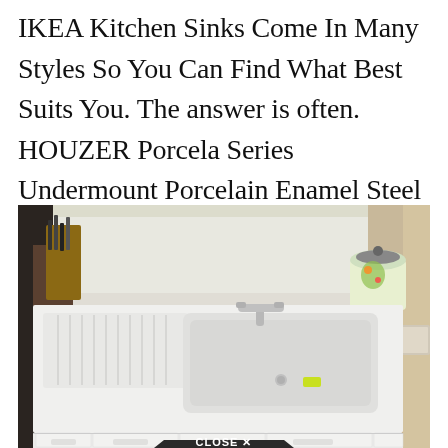IKEA Kitchen Sinks Come In Many Styles So You Can Find What Best Suits You. The answer is often. HOUZER Porcela Series Undermount Porcelain Enamel Steel 23 in.
[Figure (photo): A white porcelain drop-in kitchen sink with a single basin and drainboard on the left, chrome faucet, white metal cabinets below, wooden countertop on the sides, knife block and cutting board visible on the left, decorative canister on the right, window in the background. A 'CLOSE X' button overlay appears at the bottom center.]